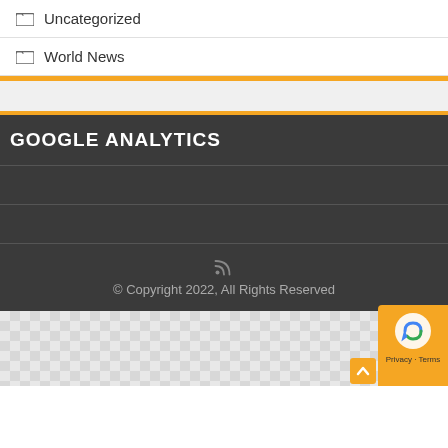Uncategorized
World News
GOOGLE ANALYTICS
© Copyright 2022, All Rights Reserved